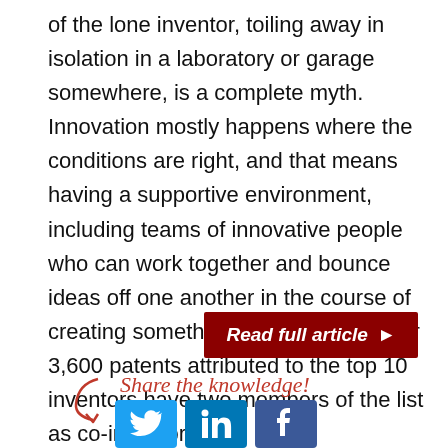of the lone inventor, toiling away in isolation in a laboratory or garage somewhere, is a complete myth.  Innovation mostly happens where the conditions are right, and that means having a supportive environment, including teams of innovative people who can work together and bounce ideas off one another in the course of creating something new.  Indeed, over 3,600 patents attributed to the top 10 inventors have two members of the list as co-inventors.
Read full article ▶
Share the knowledge!